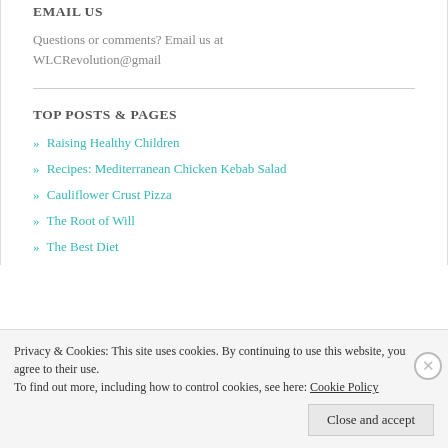EMAIL US
Questions or comments? Email us at WLCRevolution@gmail
TOP POSTS & PAGES
» Raising Healthy Children
» Recipes: Mediterranean Chicken Kebab Salad
» Cauliflower Crust Pizza
» The Root of Will
» The Best Diet
Privacy & Cookies: This site uses cookies. By continuing to use this website, you agree to their use. To find out more, including how to control cookies, see here: Cookie Policy
Close and accept